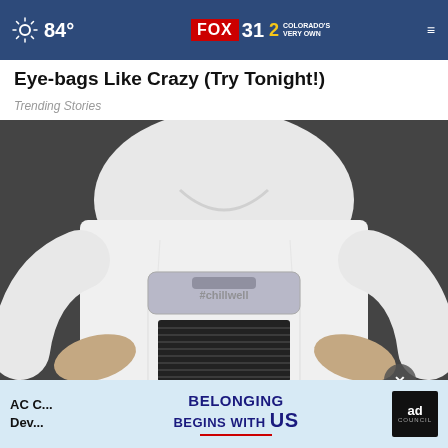84° | FOX 31 | 2 COLORADO'S VERY OWN
Eye-bags Like Crazy (Try Tonight!)
Trending Stories
[Figure (photo): Man in white shirt holding a small portable air cooler device branded #chillwell. The device has horizontal vents on the front and a transparent top section.]
AC G...
Dev...
[Figure (infographic): Ad banner: BELONGING BEGINS WITH US. Ad Council logo on right side. Blue background.]